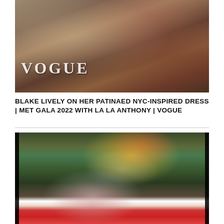[Figure (photo): Photo of Blake Lively in a gold dress being interviewed at Met Gala 2022, with VOGUE watermark logo in the lower left]
BLAKE LIVELY ON HER PATINAED NYC-INSPIRED DRESS | MET GALA 2022 WITH LA LA ANTHONY | VOGUE
[Figure (photo): Photo of a person crouching down near a Christmas-themed cardboard cutout figure holding a chalkboard sign, outdoors with green hedges in background]